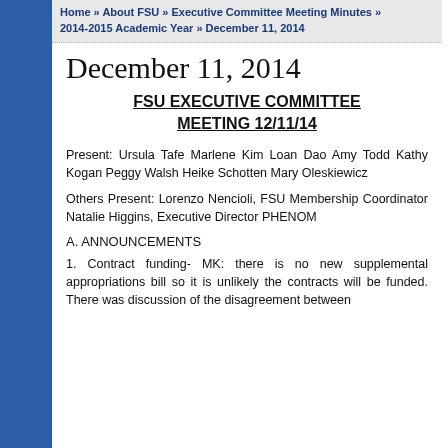Home » About FSU » Executive Committee Meeting Minutes » 2014-2015 Academic Year » December 11, 2014
December 11, 2014
FSU EXECUTIVE COMMITTEE MEETING 12/11/14
Present: Ursula Tafe Marlene Kim Loan Dao Amy Todd Kathy Kogan Peggy Walsh Heike Schotten Mary Oleskiewicz
Others Present: Lorenzo Nencioli, FSU Membership Coordinator Natalie Higgins, Executive Director PHENOM
A. ANNOUNCEMENTS
1. Contract funding- MK: there is no new supplemental appropriations bill so it is unlikely the contracts will be funded. There was discussion of the disagreement between the Governor's office and legislature about appropriations.